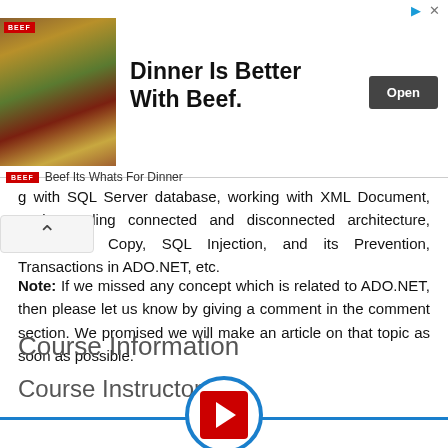[Figure (other): Advertisement banner: 'Dinner Is Better With Beef.' with food image, Open button, and 'Beef Its Whats For Dinner' brand footer]
g with SQL Server database, working with XML Document, Understanding connected and disconnected architecture, SQL Bulk Copy, SQL Injection, and its Prevention, Transactions in ADO.NET, etc.
Note: If we missed any concept which is related to ADO.NET, then please let us know by giving a comment in the comment section. We promised we will make an article on that topic as soon as possible.
Course Information
Course Instructor
[Figure (logo): Instructor circle with blue border and red play button logo at bottom of page]